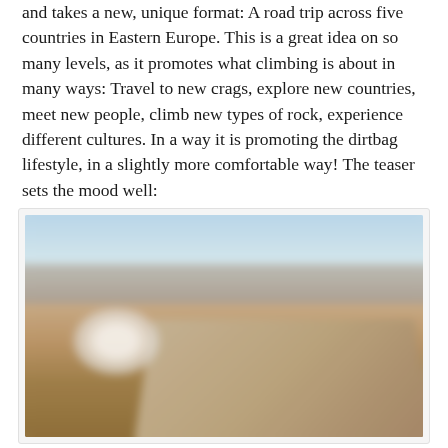and takes a new, unique format: A road trip across five countries in Eastern Europe. This is a great idea on so many levels, as it promotes what climbing is about in many ways: Travel to new crags, explore new countries, meet new people, climb new types of rock, experience different cultures. In a way it is promoting the dirtbag lifestyle, in a slightly more comfortable way! The teaser sets the mood well:
[Figure (photo): A blurred outdoor landscape photograph showing a road trip scene with mountains or rocky terrain in the background, blue sky above, and a road or path in the foreground. A blurry white circular shape (possibly a vehicle or roundabout) is visible in the lower-left area.]